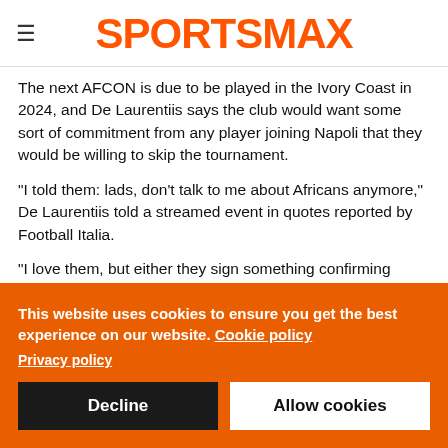SPORTSMAX
The next AFCON is due to be played in the Ivory Coast in 2024, and De Laurentiis says the club would want some sort of commitment from any player joining Napoli that they would be willing to skip the tournament.
"I told them: lads, don't talk to me about Africans anymore," De Laurentiis told a streamed event in quotes reported by Football Italia.
"I love them, but either they sign something confirming they'll
This website uses cookies to ensure you get the best experience on our website. Cookie policy
Privacy policy
Decline
Allow cookies